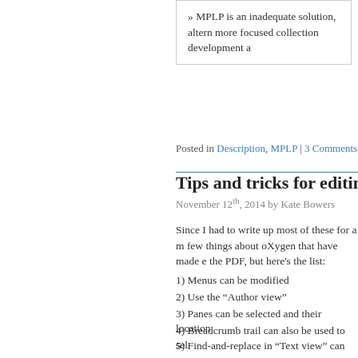» MPLP is an inadequate solution, altern more focused collection development a
Posted in Description, MPLP | 3 Comments »
Tips and tricks for editing EA
November 12th, 2014 by Kate Bowers
Since I had to write up most of these for a m few things about oXygen that have made e the PDF, but here's the list:
1) Menus can be modified
2) Use the “Author view”
3) Panes can be selected and their location
4) Breadcrumb trail can also be used to sel
5) Find-and-replace in “Text view” can use
6) Paste text as XML in Author view
7) Assign keyboard shortcuts
Kates_Oxygen_Tips_And_Tricks_for_EAD